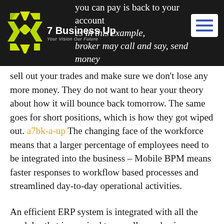7 Business Up — Your Vision Our Future
you can pay is back to your account ... es in this example, broker may call and say, send money now to cover your losing position, or we sell out your trades and make sure we don't lose any more money. They do not want to hear your theory about how it will bounce back tomorrow. The same goes for short positions, which is how they got wiped out. a7bk-a-up The changing face of the workforce means that a larger percentage of employees need to be integrated into the business – Mobile BPM means faster responses to workflow based processes and streamlined day-to-day operational activities.
An efficient ERP system is integrated with all the modules that is required to run all your business processes and consists